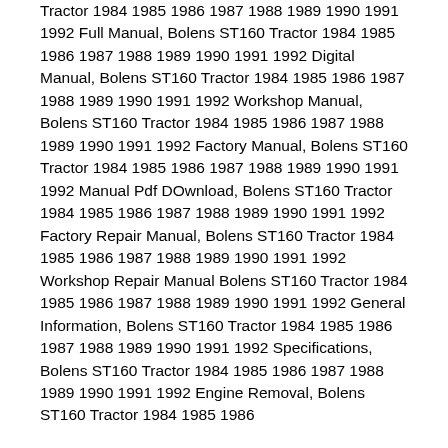Tractor 1984 1985 1986 1987 1988 1989 1990 1991 1992 Full Manual, Bolens ST160 Tractor 1984 1985 1986 1987 1988 1989 1990 1991 1992 Digital Manual, Bolens ST160 Tractor 1984 1985 1986 1987 1988 1989 1990 1991 1992 Workshop Manual, Bolens ST160 Tractor 1984 1985 1986 1987 1988 1989 1990 1991 1992 Factory Manual, Bolens ST160 Tractor 1984 1985 1986 1987 1988 1989 1990 1991 1992 Manual Pdf DOwnload, Bolens ST160 Tractor 1984 1985 1986 1987 1988 1989 1990 1991 1992 Factory Repair Manual, Bolens ST160 Tractor 1984 1985 1986 1987 1988 1989 1990 1991 1992 Workshop Repair Manual Bolens ST160 Tractor 1984 1985 1986 1987 1988 1989 1990 1991 1992 General Information, Bolens ST160 Tractor 1984 1985 1986 1987 1988 1989 1990 1991 1992 Specifications, Bolens ST160 Tractor 1984 1985 1986 1987 1988 1989 1990 1991 1992 Engine Removal, Bolens ST160 Tractor 1984 1985 1986